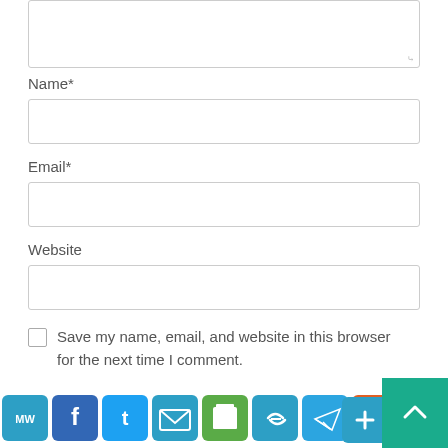Name*
[Figure (other): Empty text input field for Name]
Email*
[Figure (other): Empty text input field for Email]
Website
[Figure (other): Empty text input field for Website]
Save my name, email, and website in this browser for the next time I comment.
Please verify that you are human. *
[Figure (other): Social sharing bar with icons: MeWe, Facebook, Twitter, Email, Print, Link, Telegram, Reddit, More. Plus a teal scroll-to-top arrow button.]